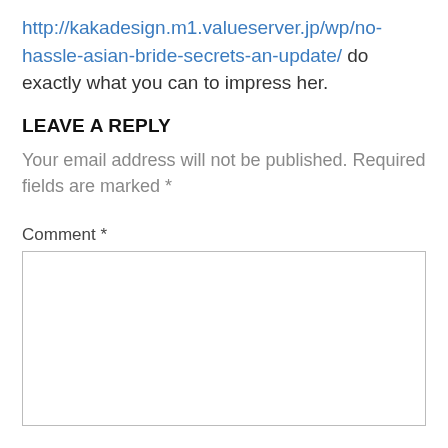http://kakadesign.m1.valueserver.jp/wp/no-hassle-asian-bride-secrets-an-update/ do exactly what you can to impress her.
LEAVE A REPLY
Your email address will not be published. Required fields are marked *
Comment *